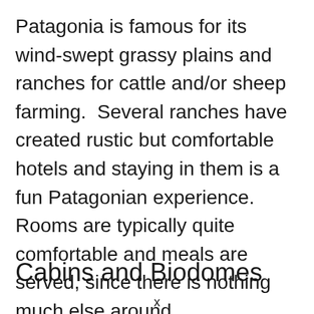Patagonia is famous for its wind-swept grassy plains and ranches for cattle and/or sheep farming.  Several ranches have created rustic but comfortable hotels and staying in them is a fun Patagonian experience.  Rooms are typically quite comfortable and meals are served, since there is nothing much else around.
Cabins and Biodomes
x